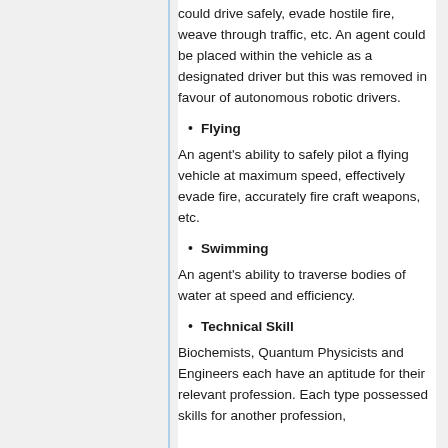could drive safely, evade hostile fire, weave through traffic, etc. An agent could be placed within the vehicle as a designated driver but this was removed in favour of autonomous robotic drivers.
Flying
An agent's ability to safely pilot a flying vehicle at maximum speed, effectively evade fire, accurately fire craft weapons, etc.
Swimming
An agent's ability to traverse bodies of water at speed and efficiency.
Technical Skill
Biochemists, Quantum Physicists and Engineers each have an aptitude for their relevant profession. Each type possessed skills for another profession,